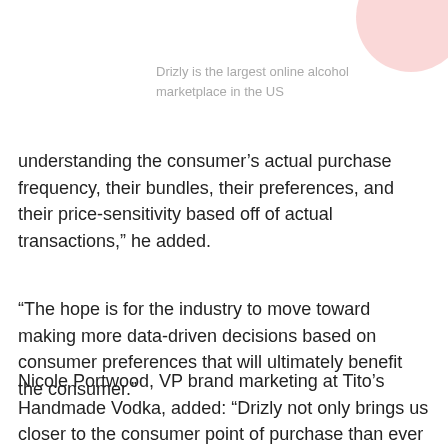Drizly is the largest online alcohol marketplace in the US
understanding the consumer’s actual purchase frequency, their bundles, their preferences, and their price-sensitivity based off of actual transactions,” he added.
“The hope is for the industry to move toward making more data-driven decisions based on consumer preferences that will ultimately benefit the consumer.”
Nicole Portwood, VP brand marketing at Tito’s Handmade Vodka, added: “Drizly not only brings us closer to the consumer point of purchase than ever before, it also opens up a rich trove of data